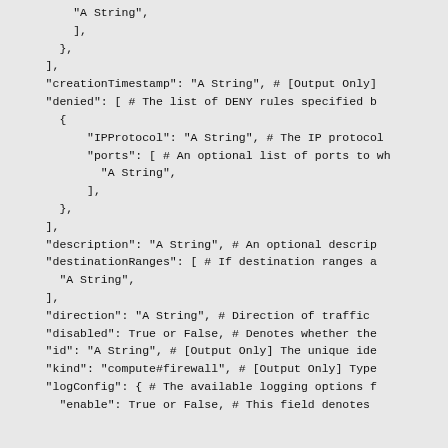Code snippet showing JSON structure for firewall configuration including creationTimestamp, denied rules with IPProtocol and ports, description, destinationRanges, direction, disabled, id, kind, logConfig fields